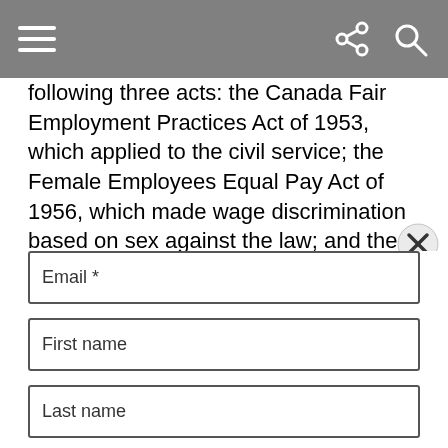[navigation toolbar with menu, share, and search icons]
following three acts: the Canada Fair Employment Practices Act of 1953, which applied to the civil service; the Female Employees Equal Pay Act of 1956, which made wage discrimination based on sex against the law; and the Employment Equity Act of 1986, which applies to federally regulated employees and requires employers to identify and eliminate unnecessary barriers that limit employment opportunities.
[Figure (other): Close (X) button overlay in bottom-right area]